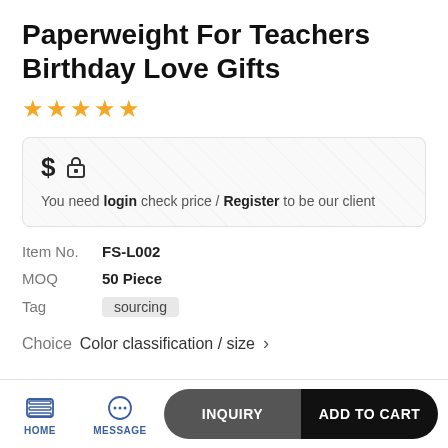Paperweight For Teachers Birthday Love Gifts
[Figure (other): 5 gold star rating icons]
$ 🔒
You need login check price / Register to be our client
Item No.   FS-L002
MOQ   50 Piece
Tag   sourcing
Choice   Color classification / size >
HOME   MESSAGE   INQUIRY   ADD TO CART